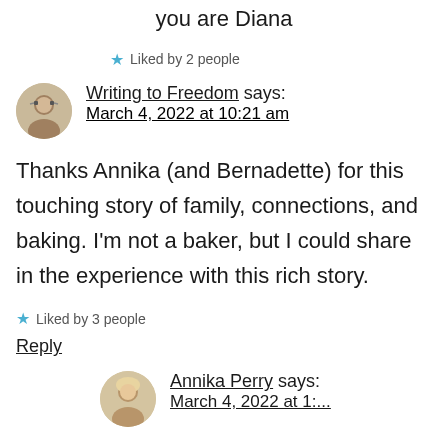Aww, what a nice friend you are Diana
Liked by 2 people
Writing to Freedom says: March 4, 2022 at 10:21 am
Thanks Annika (and Bernadette) for this touching story of family, connections, and baking. I'm not a baker, but I could share in the experience with this rich story.
Liked by 3 people
Reply
Annika Perry says: March 4, 2022 at 1:...